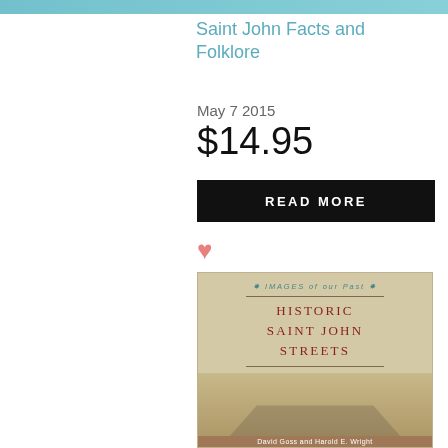[Figure (photo): Top partial image strip of a book or product — teal/blue color bar at top]
Saint John Facts and Folklore
May 7 2015
$14.95
READ MORE
[Figure (illustration): Pink heart icon (like/favorite button)]
[Figure (photo): Book cover for 'Historic Saint John Streets' by David Goss and Harold E. Wright, part of Images of our Past series. Features an old sepia street photograph with the title in red serif letters on a tan/parchment background.]